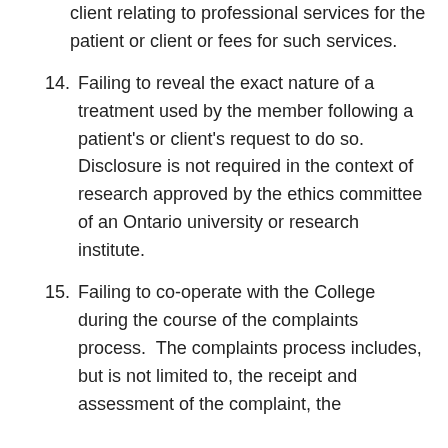client relating to professional services for the patient or client or fees for such services.
14. Failing to reveal the exact nature of a treatment used by the member following a patient's or client's request to do so. Disclosure is not required in the context of research approved by the ethics committee of an Ontario university or research institute.
15. Failing to co-operate with the College during the course of the complaints process. The complaints process includes, but is not limited to, the receipt and assessment of the complaint, the